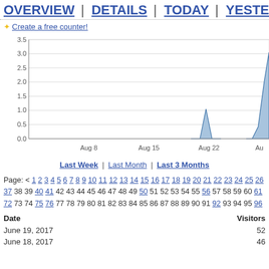OVERVIEW | DETAILS | TODAY | YESTERDAY
✦ Create a free counter!
[Figure (area-chart): Visitors over time]
Last Week | Last Month | Last 3 Months
Page: < 1 2 3 4 5 6 7 8 9 10 11 12 13 14 15 16 17 18 19 20 21 22 23 24 25 26 37 38 39 40 41 42 43 44 45 46 47 48 49 50 51 52 53 54 55 56 57 58 59 60 61 72 73 74 75 76 77 78 79 80 81 82 83 84 85 86 87 88 89 90 91 92 93 94 95 96
| Date | Visitors |
| --- | --- |
| June 19, 2017 | 52 |
| June 18, 2017 | 46 |